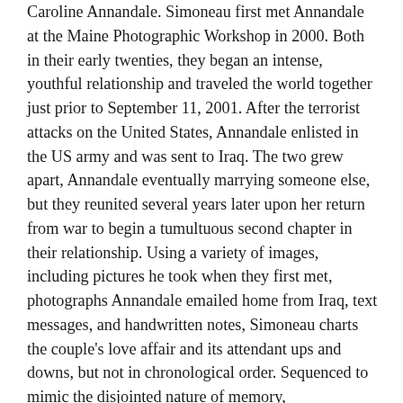Caroline Annandale. Simoneau first met Annandale at the Maine Photographic Workshop in 2000. Both in their early twenties, they began an intense, youthful relationship and traveled the world together just prior to September 11, 2001. After the terrorist attacks on the United States, Annandale enlisted in the US army and was sent to Iraq. The two grew apart, Annandale eventually marrying someone else, but they reunited several years later upon her return from war to begin a tumultuous second chapter in their relationship. Using a variety of images, including pictures he took when they first met, photographs Annandale emailed home from Iraq, text messages, and handwritten notes, Simoneau charts the couple's love affair and its attendant ups and downs, but not in chronological order. Sequenced to mimic the disjointed nature of memory, communication, and identity, the project reveals how our ideas about ourselves and of our loved ones are always a blend of past and present. As the photographs accumulate, they expose Annandale's loss of innocence and her transformation into a toughened war veteran. Ultimately, Simoneau reveals the lasting impact—the invisible, indelible, and irreversible effects that both love and war have…